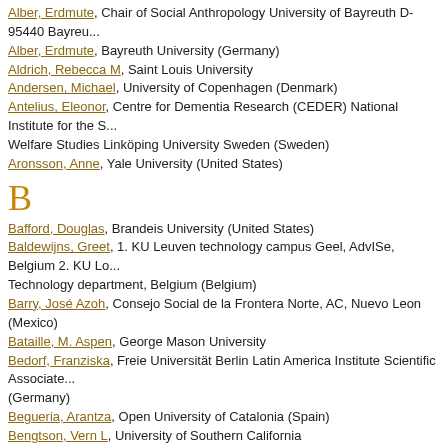Alber, Erdmute, Chair of Social Anthropology University of Bayreuth D-95440 Bayreuth (Germany)
Alber, Erdmute, Bayreuth University (Germany)
Aldrich, Rebecca M, Saint Louis University
Andersen, Michael, University of Copenhagen (Denmark)
Antelius, Eleonor, Centre for Dementia Research (CEDER) National Institute for the Study of Ageing and Later Life and the Department of Social Work and Welfare Studies Linköping University Sweden (Sweden)
Aronsson, Anne, Yale University (United States)
B
Bafford, Douglas, Brandeis University (United States)
Baldewijns, Greet, 1. KU Leuven technology campus Geel, AdvISe, Belgium 2. KU Leuven Technology department, Belgium (Belgium)
Barry, José Azoh, Consejo Social de la Frontera Norte, AC, Nuevo Leon (Mexico)
Bataille, M. Aspen, George Mason University
Bedorf, Franziska, Freie Universität Berlin Latin America Institute Scientific Associate (Germany)
Begueria, Arantza, Open University of Catalonia (Spain)
Bengtson, Vern L, University of Southern California
Berman, Rebecca (United States)
Biniok, Peter, Furtwangen University (Germany)
Boroch, Robert, University of Warsaw (Poland)
Bos, Pien, University of Humanistic Studies Utrecht, Netherlands (Netherlands)
Bradley, Leah, Heyman Interages Center, Jewish Council for the Aging (United States)
Bratun, Urša, University of Ljubljana, Slovenia; Alma Mater Europaea ECM, Slovenia
Brazda, Michael, Department of Sociology and Anthropology, University of Maryland
Briller, Sherri
Briller, Sherylyn, Wayne State University (United States)
Briller, Sherylyn, Wayne State University, Department of Anthropology (United States)
Briller, Sherylyn, Purdue University
Briller, Sherylyn
Brown, Daniel E., University of Hawaii at Hilo (United States)
Brown, Diane L., Medical College of Wisconsin (United States)
Bryanton, Olive (Canada)
C